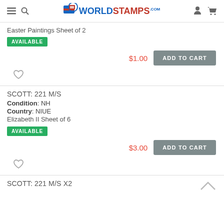WorldStamps.com
Easter Paintings Sheet of 2
AVAILABLE
$1.00  ADD TO CART
SCOTT: 221 M/S
Condition: NH
Country: NIUE
Elizabeth II Sheet of 6
AVAILABLE
$3.00  ADD TO CART
SCOTT: 221 M/S X2